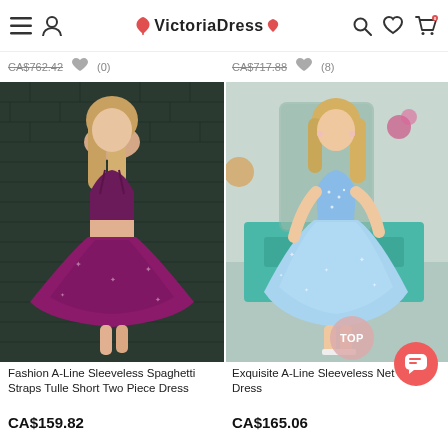VictoriaDress (website header with menu, logo, search, wishlist, cart icons)
CA$762.42 (0)
CA$717.88 (8)
[Figure (photo): Young woman wearing a purple two-piece A-line sleeveless spaghetti strap tulle short dress, posing in front of a dark brick wall.]
[Figure (photo): Young woman wearing a light blue sparkly A-line sleeveless short net dress, posing in front of a teal dresser and large mirror.]
Fashion A-Line Sleeveless Spaghetti Straps Tulle Short Two Piece Dress
Exquisite A-Line Sleeveless Net Short Dress
CA$159.82
CA$165.06